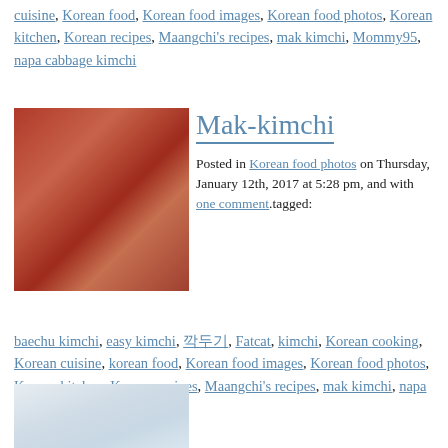cuisine, Korean food, Korean food images, Korean food photos, Korean kitchen, Korean recipes, Maangchi's recipes, mak kimchi, Mommy95, napa cabbage kimchi
[Figure (photo): Photo of mak-kimchi dish in a bowl, red fermented napa cabbage kimchi]
Mak-kimchi
Posted in Korean food photos on Thursday, January 12th, 2017 at 5:28 pm, and with one comment.tagged:
baechu kimchi, easy kimchi, 깍두기, Fatcat, kimchi, Korean cooking, Korean cuisine, korean food, Korean food images, Korean food photos, Korean kitchen, Korean recipes, Maangchi's recipes, mak kimchi, napa cabbage kimchi
[Figure (photo): Partial photo at bottom of page, appears to show food storage containers]